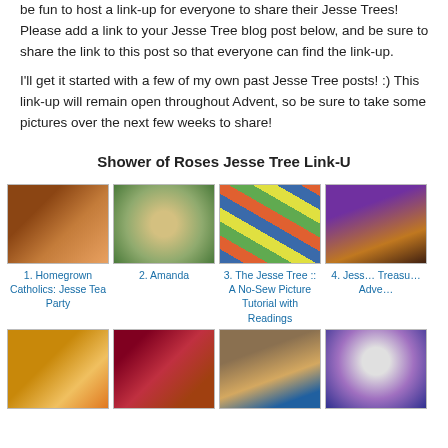be fun to host a link-up for everyone to share their Jesse Trees! Please add a link to your Jesse Tree blog post below, and be sure to share the link to this post so that everyone can find the link-up.
I'll get it started with a few of my own past Jesse Tree posts!  :)  This link-up will remain open throughout Advent, so be sure to take some pictures over the next few weeks to share!
Shower of Roses Jesse Tree Link-U
[Figure (photo): 1. Homegrown Catholics: Jesse Tea Party - photo of a table set with bowls and decorations]
1. Homegrown Catholics: Jesse Tea Party
[Figure (photo): 2. Amanda - photo of a circular ornament with nativity imagery on pine branches]
2. Amanda
[Figure (photo): 3. The Jesse Tree :: A No-Sew Picture Tutorial with Readings - grid of colorful circular Jesse Tree ornaments]
3. The Jesse Tree :: A No-Sew Picture Tutorial with Readings
[Figure (photo): 4. Jesse Treasu... Adve... - partially visible photo of circular ornaments]
4. Jess... Treasu... Adve...
[Figure (photo): 5. Bottom row item 1 - photo of a nativity/building scene]
[Figure (photo): 6. Bottom row item 2 - photo of red flowers/candles]
[Figure (photo): 7. Bottom row item 3 - photo of a book page with a figure]
[Figure (photo): 8. Bottom row item 4 - partially visible circular decorative item]